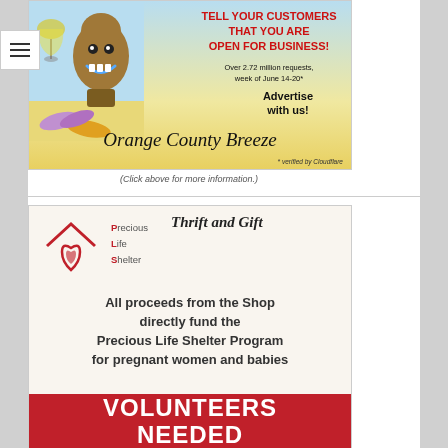[Figure (illustration): Orange County Breeze advertisement: cartoon tiki and cocktail illustration on left, red bold text 'TELL YOUR CUSTOMERS THAT YOU ARE OPEN FOR BUSINESS!' on right, 'Over 2.72 million requests, week of June 14-20* Advertise with us!' text, 'Orange County Breeze' in cursive script at bottom, '* verified by Cloudflare' at bottom right.]
(Click above for more information.)
[Figure (illustration): Precious Life Shelter Thrift and Gift advertisement. Logo with house/heart icon, 'Precious Life Shelter' text. 'Thrift and Gift' in italic script. Bold text: 'All proceeds from the Shop directly fund the Precious Life Shelter Program for pregnant women and babies'. Red bar at bottom reading 'VOLUNTEERS NEEDED'.]